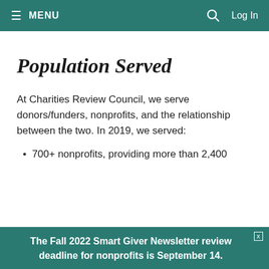≡  MENU   🔍   Log In
Population Served
At Charities Review Council, we serve donors/funders, nonprofits, and the relationship between the two. In 2019, we served:
700+ nonprofits, providing more than 2,400
The Fall 2022 Smart Giver Newsletter review deadline for nonprofits is September 14.